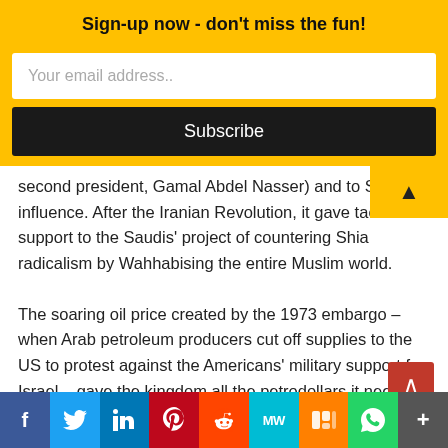Sign-up now - don't miss the fun!
Your email address..
Subscribe
second president, Gamal Abdel Nasser) and to Soviet influence. After the Iranian Revolution, it gave tacit support to the Saudis’ project of countering Shia radicalism by Wahhabising the entire Muslim world.
The soaring oil price created by the 1973 embargo – when Arab petroleum producers cut off supplies to the US to protest against the Americans’ military support for Israel – gave the kingdom all the petrodollars it needed to export its idiosyncratic form of Islam. The old military jihad to spread the faith was now replaced by a cultural offensive. The Saudi-based Muslim World League opened offices in every region inhabited by Muslims, and the Saudi ministry of religion printed and distributed Wah translations of the Quran, Wahhabi doctrinal texts ar
f  Twitter  in  P  Reddit  MW  Mix  WhatsApp  More